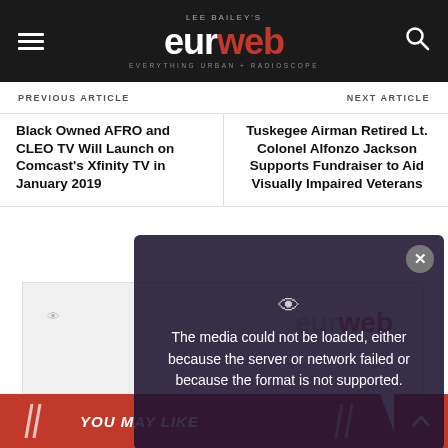Lee Bailey's Eurweb - Everything Urban + Radioscope
PREVIOUS ARTICLE
NEXT ARTICLE
Black Owned AFRO and CLEO TV Will Launch on Comcast's Xfinity TV in January 2019
Tuskegee Airman Retired Lt. Colonel Alfonzo Jackson Supports Fundraiser to Aid Visually Impaired Veterans
[Figure (screenshot): Video player placeholder with error overlay message: 'The media could not be loaded, either because the server or network failed or because the format is not supported.' with close button and eye icon. Partial text 'Yola' visible below.]
YOU MAY LIKE